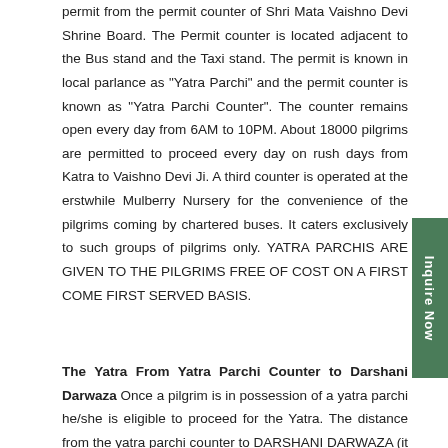permit from the permit counter of Shri Mata Vaishno Devi Shrine Board. The Permit counter is located adjacent to the Bus stand and the Taxi stand. The permit is known in local parlance as "Yatra Parchi" and the permit counter is known as "Yatra Parchi Counter". The counter remains open every day from 6AM to 10PM. About 18000 pilgrims are permitted to proceed every day on rush days from Katra to Vaishno Devi Ji. A third counter is operated at the erstwhile Mulberry Nursery for the convenience of the pilgrims coming by chartered buses. It caters exclusively to such groups of pilgrims only. YATRA PARCHIS ARE GIVEN TO THE PILGRIMS FREE OF COST ON A FIRST COME FIRST SERVED BASIS.
The Yatra From Yatra Parchi Counter to Darshani Darwaza Once a pilgrim is in possession of a yatra parchi he/she is eligible to proceed for the Yatra. The distance from the yatra parchi counter to DARSHANI DARWAZA (it is so named because it is the point from where the yatra is really deemed to commence and thus becomes the doorway or Darwaza for Darshan) is one kilometer. Pilgrims cover this stretch either on foot, or on auto-rickshaws or by the bus service...